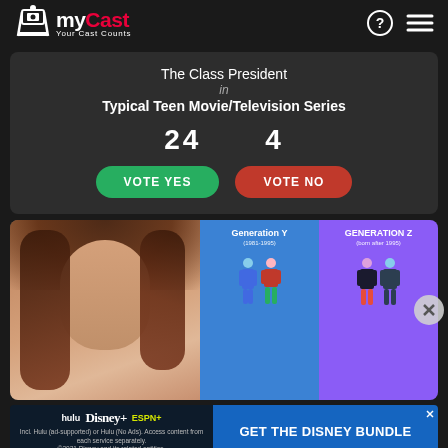myCast — Your Cast Counts
The Class President
in
Typical Teen Movie/Television Series
24  4
VOTE YES  VOTE NO
[Figure (photo): Collage: photo of a young woman with auburn hair on the left; on the right, an infographic panel showing Generation Y (1981-1995) and Generation Z (born after 1995) with pixel-art style people illustrations in blue and purple backgrounds]
[Figure (infographic): Disney Bundle advertisement banner: Hulu, Disney+, ESPN+ logos with text 'GET THE DISNEY BUNDLE'. Incl. Hulu (ad-supported) or Hulu (No Ads). Access content from each service separately. ©2021 Disney and its related entities.]
Face Claims Sorted by Generations